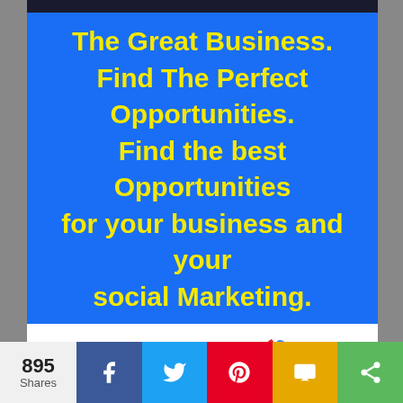The Great Business. Find The Perfect Opportunities. Find the best Opportunities for your business and your social Marketing.
[Figure (screenshot): Kicksta advertisement card showing logo and 'Get Real Instagram Followers' tagline]
895 Shares